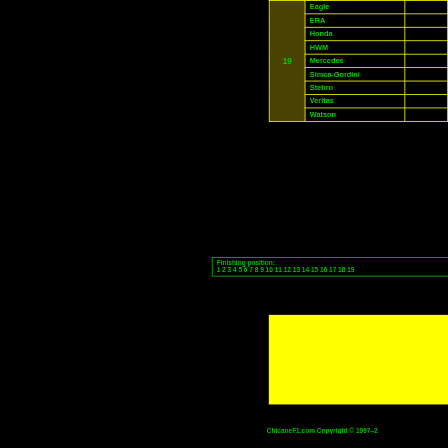|  | Constructor |  |
| --- | --- | --- |
| 19 | Eagle |  |
|  | ERA |  |
|  | Honda |  |
|  | HWM |  |
|  | Mercedes |  |
|  | Simca-Gordini |  |
|  | Stebro |  |
|  | Veritas |  |
|  | Watson |  |
Finishing position: 1 2 3 4 5 6 7 8 9 10 11 12 13 14 15 16 17 18 19
[Figure (other): Yellow colored block/legend area]
ChicaneF1.com Copyright © 1997–2